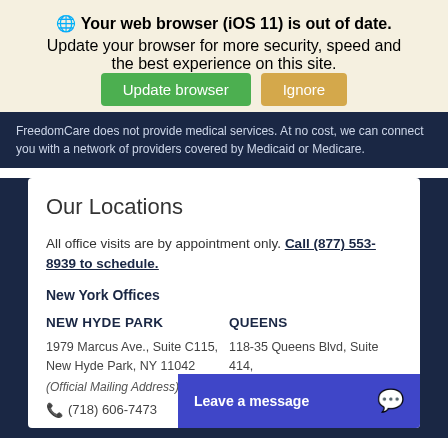🌐 Your web browser (iOS 11) is out of date.
Update your browser for more security, speed and the best experience on this site.
Update browser  Ignore
FreedomCare does not provide medical services. At no cost, we can connect you with a network of providers covered by Medicaid or Medicare.
Our Locations
All office visits are by appointment only. Call (877) 553-8939 to schedule.
New York Offices
NEW HYDE PARK
1979 Marcus Ave., Suite C115, New Hyde Park, NY 11042
(Official Mailing Address)
(718) 606-7473
QUEENS
118-35 Queens Blvd, Suite 414, Forest Hills, NY 11375
Leave a message